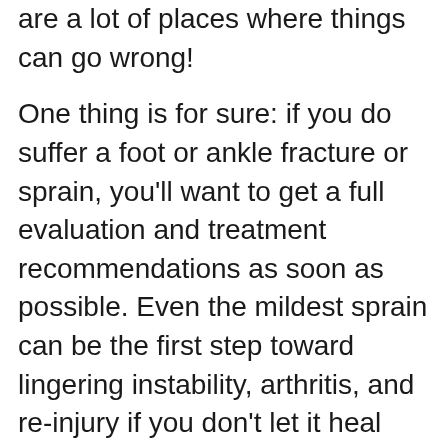are a lot of places where things can go wrong!
One thing is for sure: if you do suffer a foot or ankle fracture or sprain, you'll want to get a full evaluation and treatment recommendations as soon as possible. Even the mildest sprain can be the first step toward lingering instability, arthritis, and re-injury if you don't let it heal properly. We treat patients from Dover all the way down to Newbury, using effective treatment methods. Reach out to one of our offices located in Portsmouth and Nashua for expert foot and ankle care.